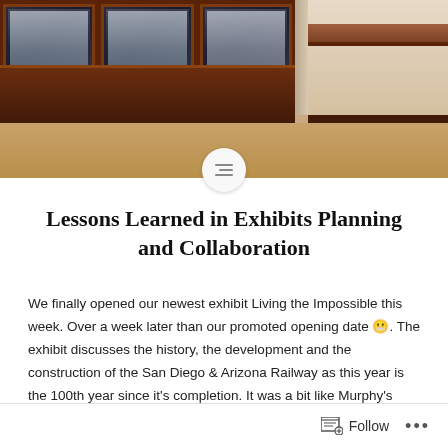[Figure (photo): Interior of a museum exhibit room with wooden display cases and illuminated exhibit windows showing railway artifacts and imagery. Warm wood tones throughout.]
Lessons Learned in Exhibits Planning and Collaboration
We finally opened our newest exhibit Living the Impossible this week. Over a week later than our promoted opening date 😬. The exhibit discusses the history, the development and the construction of the San Diego & Arizona Railway as this year is the 100th year since it's completion. It was a bit like Murphy's law…
Follow ...